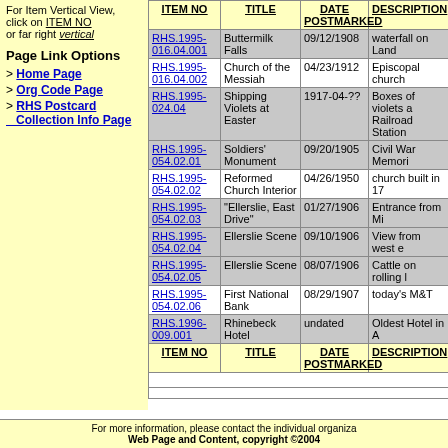For Item Vertical View, click on ITEM NO or far right vertical
Page Link Options
> Home Page
> Org Code Page
> RHS Postcard Collection Info Page
| ITEM NO | TITLE | DATE POSTMARKED | DESCRIPTION |
| --- | --- | --- | --- |
| RHS.1995-016.04.001 | Buttermilk Falls | 09/12/1908 | waterfall on Land |
| RHS.1995-016.04.002 | Church of the Messiah | 04/23/1912 | Episcopal church |
| RHS.1995-024.04 | Shipping Violets at Easter | 1917-04-?? | Boxes of violets a Railroad Station |
| RHS.1995-054.02.01 | Soldiers' Monument | 09/20/1905 | Civil War Memori |
| RHS.1995-054.02.02 | Reformed Church Interior | 04/26/1950 | church built in 17 |
| RHS.1995-054.02.03 | "Ellerslie, East Drive" | 01/27/1906 | Entrance from Mi |
| RHS.1995-054.02.04 | Ellerslie Scene | 09/10/1906 | View from west e |
| RHS.1995-054.02.05 | Ellerslie Scene | 08/07/1906 | Cattle on rolling l |
| RHS.1995-054.02.06 | First National Bank | 08/29/1907 | today's M&T |
| RHS.1996-009.001 | Rhinebeck Hotel | undated | Oldest Hotel in A |
For more information, please contact the individual organiza Web Page and Content, copyright ©2004